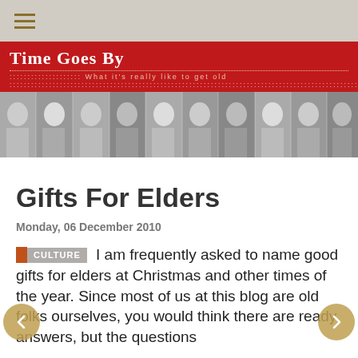≡ (hamburger menu)
[Figure (illustration): Time Goes By blog banner: red background with white bold title 'Time Goes By', subtitle 'What it's really like to get old', followed by a horizontal strip of black-and-white portrait photos of women at various ages.]
Gifts For Elders
Monday, 06 December 2010
CULTURE  I am frequently asked to name good gifts for elders at Christmas and other times of the year. Since most of us at this blog are old folks ourselves, you would think there are ready answers, but the questions